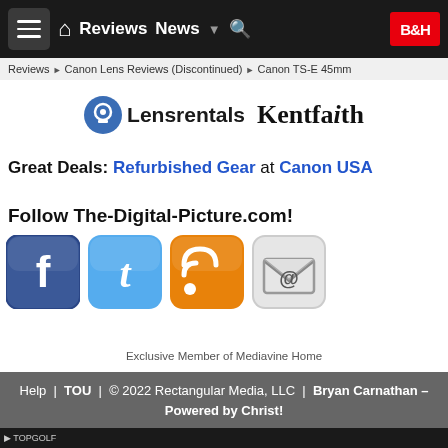Reviews | News | B&H
Reviews ▶ Canon Lens Reviews (Discontinued) ▶ Canon TS-E 45mm
[Figure (logo): Lensrentals and Kentfaith sponsor logos]
Great Deals: Refurbished Gear at Canon USA
Follow The-Digital-Picture.com!
[Figure (illustration): Social media icons: Facebook, Twitter, RSS, Email]
Exclusive Member of Mediavine Home
Help | TOU | © 2022 Rectangular Media, LLC | Bryan Carnathan – Powered by Christ!